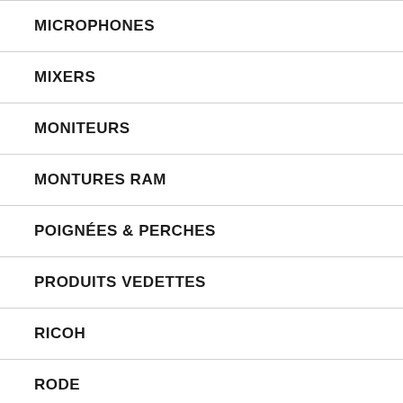MICROPHONES
MIXERS
MONITEURS
MONTURES RAM
POIGNÉES & PERCHES
PRODUITS VEDETTES
RICOH
RODE
RYCOTE
SPORTS NAUTIQUES
STOCKAGE